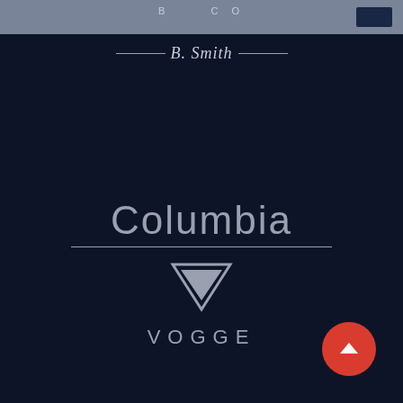[Figure (screenshot): Website screenshot showing navigation bar at top with gray background, B.Smith signature logo in cursive with horizontal lines, 'Columbia' text in light gray with underline on dark navy background, Vogge logo with downward triangle and 'VOGGE' text, and red circular back-to-top button]
B. Smith Co
Columbia
[Figure (logo): VOGGE logo with downward pointing triangle above the text 'VOGGE' in spaced letters]